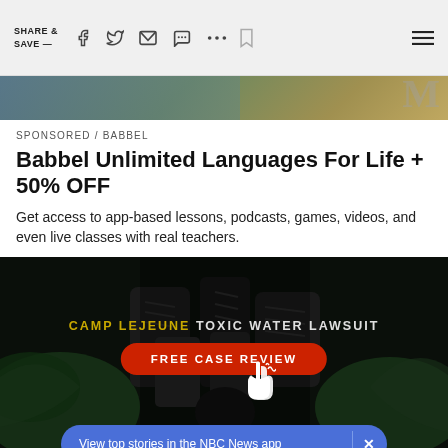SHARE & SAVE —
[Figure (screenshot): Hero image strip showing top of a photo with blue/green tones and partial letter M]
SPONSORED / BABBEL
Babbel Unlimited Languages For Life + 50% OFF
Get access to app-based lessons, podcasts, games, videos, and even live classes with real teachers.
[Figure (photo): Dark advertisement banner for Camp Lejeune Toxic Water Lawsuit with boots image, green water splash, text 'CAMP LEJEUNE TOXIC WATER LAWSUIT', red button 'FREE CASE REVIEW' with cursor icon, and blue NBC News app banner at bottom]